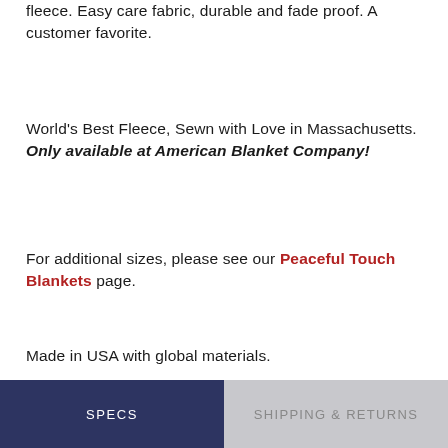fleece. Easy care fabric, durable and fade proof. A customer favorite.
World's Best Fleece, Sewn with Love in Massachusetts. Only available at American Blanket Company!
For additional sizes, please see our Peaceful Touch Blankets page.
Made in USA with global materials.
SPECS | SHIPPING & RETURNS